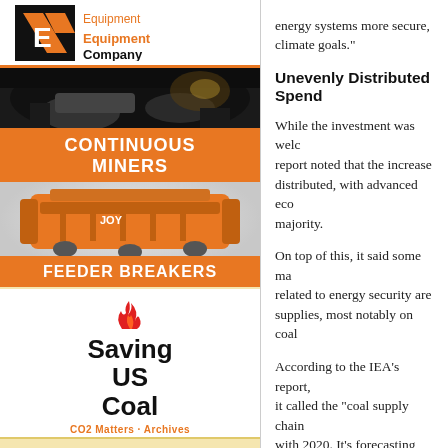[Figure (logo): Joy Equipment Company logo with orange/black diagonal stripe icon and orange text]
[Figure (photo): Black and white photo of a continuous miner machine underground in a coal mine]
CONTINUOUS MINERS
[Figure (photo): Orange feeder breaker machine on grey/white background]
FEEDER BREAKERS
[Figure (logo): Saving US Coal logo with flame icon above text and CO2 Matters - Archives subtitle in orange]
energy systems more secure, climate goals."
Unevenly Distributed Spend
While the investment was welc report noted that the increase distributed, with advanced eco majority.
On top of this, it said some ma related to energy security are supplies, most notably on coal
According to the IEA's report, it called the "coal supply chain with 2020. It's forecasting that this year.